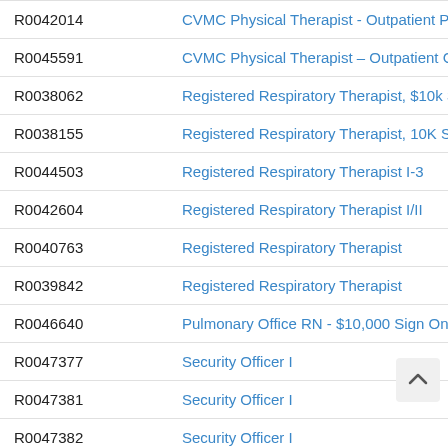| ID | Title |
| --- | --- |
| R0042014 | CVMC Physical Therapist - Outpatient Pe |
| R0045591 | CVMC Physical Therapist – Outpatient Cl |
| R0038062 | Registered Respiratory Therapist, $10k S |
| R0038155 | Registered Respiratory Therapist, 10K Sig |
| R0044503 | Registered Respiratory Therapist I-3 |
| R0042604 | Registered Respiratory Therapist I/II |
| R0040763 | Registered Respiratory Therapist |
| R0039842 | Registered Respiratory Therapist |
| R0046640 | Pulmonary Office RN - $10,000 Sign On B |
| R0047377 | Security Officer I |
| R0047381 | Security Officer I |
| R0047382 | Security Officer I |